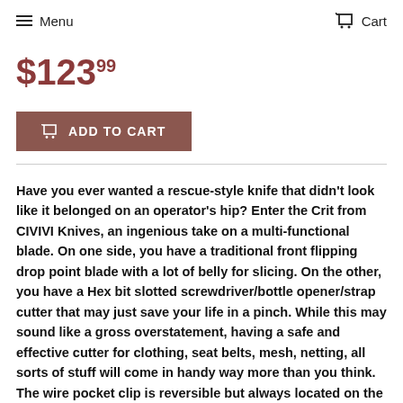Menu   Cart
$123.99
ADD TO CART
Have you ever wanted a rescue-style knife that didn't look like it belonged on an operator's hip? Enter the Crit from CIVIVI Knives, an ingenious take on a multi-functional blade. On one side, you have a traditional front flipping drop point blade with a lot of belly for slicing. On the other, you have a Hex bit slotted screwdriver/bottle opener/strap cutter that may just save your life in a pinch. While this may sound like a gross overstatement, having a safe and effective cutter for clothing, seat belts, mesh, netting, all sorts of stuff will come in handy way more than you think. The wire pocket clip is reversible but always located on the